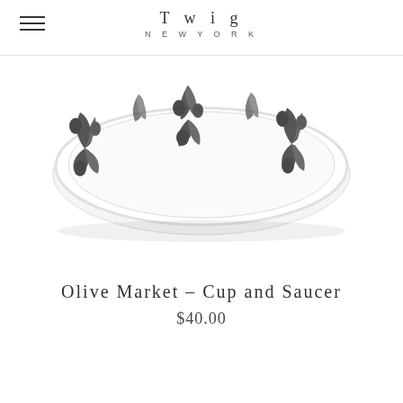Twig NEW YORK
[Figure (photo): Top-down view of a white saucer with black and white botanical olive print design, partially cropped at the top of the page]
Olive Market - Cup and Saucer
$40.00